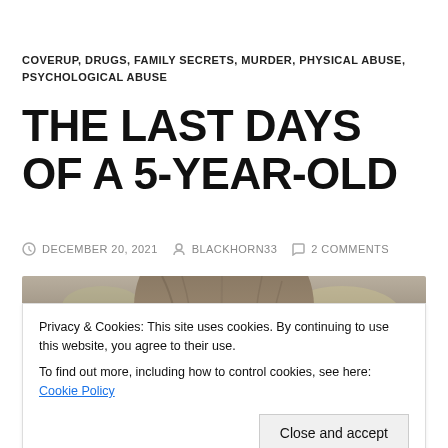COVERUP, DRUGS, FAMILY SECRETS, MURDER, PHYSICAL ABUSE, PSYCHOLOGICAL ABUSE
THE LAST DAYS OF A 5-YEAR-OLD
DECEMBER 20, 2021  BLACKHORN33  2 COMMENTS
[Figure (photo): Partial view of a young child's head with brown hair, outdoors blurred background]
Privacy & Cookies: This site uses cookies. By continuing to use this website, you agree to their use.
To find out more, including how to control cookies, see here: Cookie Policy
Close and accept